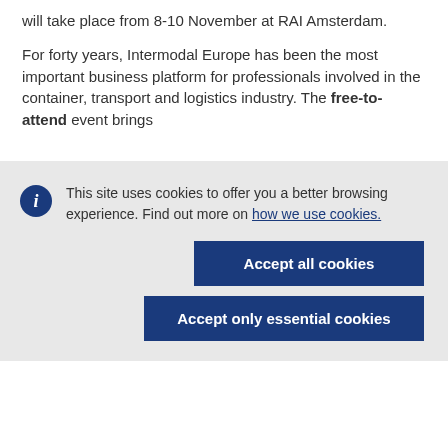will take place from 8-10 November at RAI Amsterdam.
For forty years, Intermodal Europe has been the most important business platform for professionals involved in the container, transport and logistics industry. The free-to-attend event brings
This site uses cookies to offer you a better browsing experience. Find out more on how we use cookies.
Accept all cookies
Accept only essential cookies